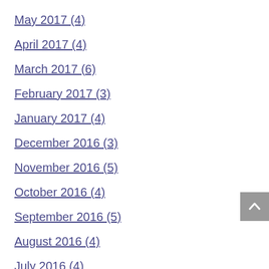May 2017 (4)
April 2017 (4)
March 2017 (6)
February 2017 (3)
January 2017 (4)
December 2016 (3)
November 2016 (5)
October 2016 (4)
September 2016 (5)
August 2016 (4)
July 2016 (4)